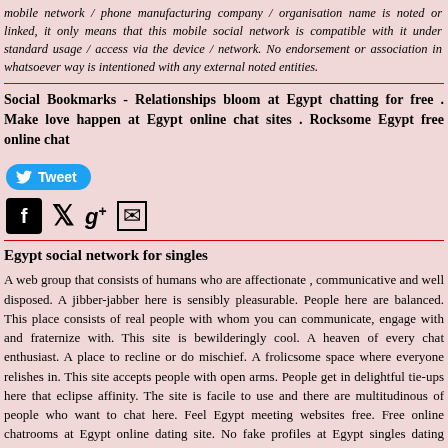mobile network / phone manufacturing company / organisation name is noted or linked, it only means that this mobile social network is compatible with it under standard usage / access via the device / network. No endorsement or association in whatsoever way is intentioned with any external noted entities.
Social Bookmarks - Relationships bloom at Egypt chatting for free . Make love happen at Egypt online chat sites . Rocksome Egypt free online chat
[Figure (infographic): Tweet button (blue rounded rectangle with Twitter bird icon and 'Tweet' text), followed by social share icons: Facebook square icon, Twitter bird icon, Google+ icon with superscript plus, and envelope/email icon]
Egypt social network for singles
A web group that consists of humans who are affectionate , communicative and well disposed. A jibber-jabber here is sensibly pleasurable. People here are balanced. This place consists of real people with whom you can communicate, engage with and fraternize with. This site is bewilderingly cool. A heaven of every chat enthusiast. A place to recline or do mischief. A frolicsome space where everyone relishes in. This site accepts people with open arms. People get in delightful tie-ups here that eclipse affinity. The site is facile to use and there are multitudinous of people who want to chat here. Feel Egypt meeting websites free. Free online chatrooms at Egypt online dating site. No fake profiles at Egypt singles dating website. Impress men online - Egypt web dating sites. Make friends and more at Egypt meet singles.